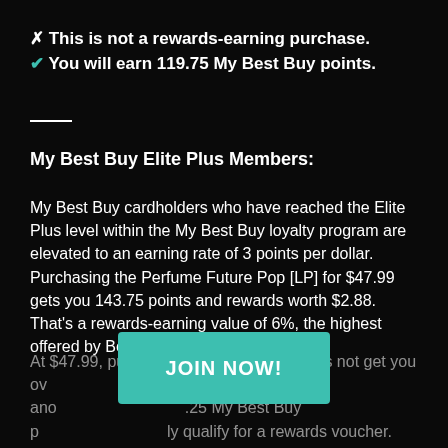✗ This is not a rewards-earning purchase. ✔ You will earn 119.75 My Best Buy points.
My Best Buy Elite Plus Members:
My Best Buy cardholders who have reached the Elite Plus level within the My Best Buy loyalty program are elevated to an earning rate of 3 points per dollar. Purchasing the Perfume Future Pop [LP] for $47.99 gets you 143.75 points and rewards worth $2.88. That's a rewards-earning value of 6%, the highest offered by Best Buy.
At $47.99, purchasing this item alone does not get you ov... But if you spend ano... .25 My Best Buy p... ly qualify for a rewards voucher.
JOIN NOW!